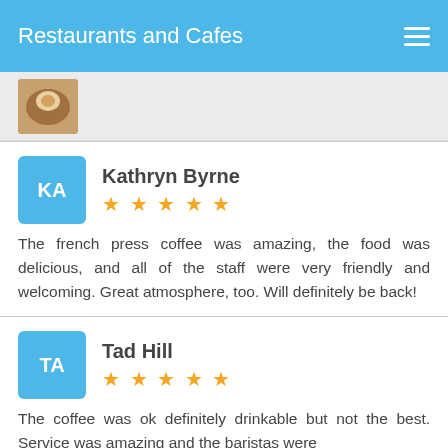Restaurants and Cafes
[Figure (photo): Partial view of a food photo in a card]
Kathryn Byrne ★★★★★
The french press coffee was amazing, the food was delicious, and all of the staff were very friendly and welcoming. Great atmosphere, too. Will definitely be back!
Tad Hill ★★★★★
The coffee was ok definitely drinkable but not the best. Service was amazing and the baristas were